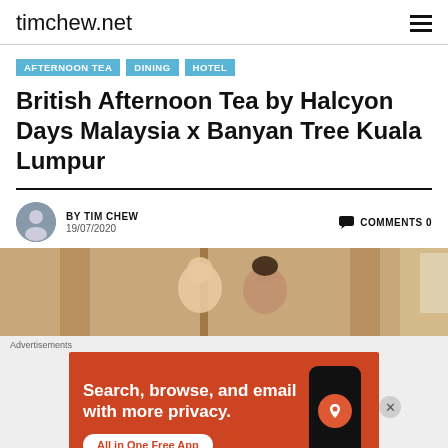timchew.net
AFTERNOON TEA  DINING  HOTEL
British Afternoon Tea by Halcyon Days Malaysia x Banyan Tree Kuala Lumpur
BY TIM CHEW
19/07/2020
COMMENTS 0
[Figure (photo): Two women standing indoors in front of panelled walls with large windows]
Advertisements
Search, browse, and email with more privacy.
All in One Free App
DuckDuckGo.